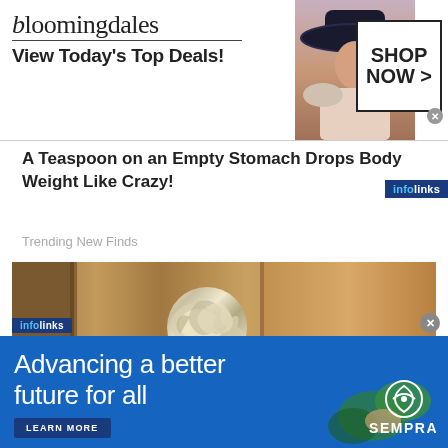[Figure (screenshot): Bloomingdale's advertisement banner with logo, 'View Today's Top Deals!' text, woman with wide-brim hat, and 'SHOP NOW >' button]
A Teaspoon on an Empty Stomach Drops Body Weight Like Crazy!
Trending New Finds
[Figure (photo): A door knob covered in aluminum foil / crumpled silver metallic ball on a brown door]
[Figure (screenshot): Sempra advertisement: 'Advancing a better future for all' with LEARN MORE button and Sempra logo on blue background]